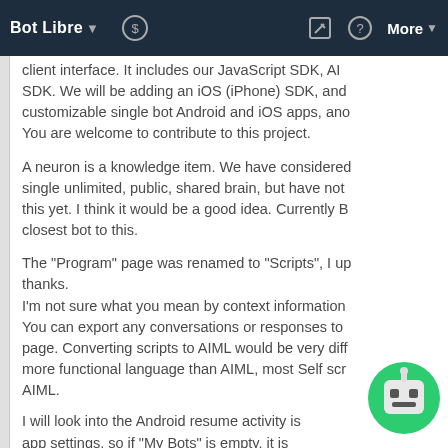Bot Libre ▾  $  ✎  ?  More ▾
SDK. We will be adding an iOS (iPhone) SDK, and customizable single bot Android and iOS apps, and You are welcome to contribute to this project.
A neuron is a knowledge item. We have considered single unlimited, public, shared brain, but have not this yet. I think it would be a good idea. Currently B closest bot to this.
The "Program" page was renamed to "Scripts", I up thanks.
I'm not sure what you mean by context information
You can export any conversations or responses to page. Converting scripts to AIML would be very diff more functional language than AIML, most Self scr AIML.
I will look into the Android resume activity is It s app settings, so if "My Bots" is empty, it is g t relogin.
[Figure (illustration): Green circular bot/chat icon with a simple robot face in the bottom right corner]